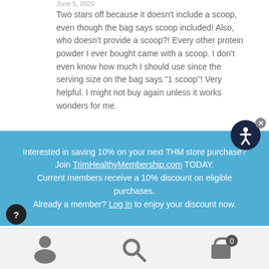June 5, 2020
Two stars off because it doesn’t include a scoop, even though the bag says scoop included! Also, who doesn’t provide a scoop?! Every other protein powder I ever bought came with a scoop. I don’t even know how much I should use since the serving size on the bag says “1 scoop”! Very helpful. I might not buy again unless it works wonders for me.
Interested in saving 10% on your next THM store purchase? Join TrimHealthyMembership.com TODAY. Current members receive a 10% discount on eligible purchases. Already a member? Log In to enjoy your discount now.
[Figure (illustration): Accessibility icon (person in circle) in dark navy circle, with a gray close button]
[Figure (illustration): Question mark help icon in black circle]
[Figure (illustration): Bottom navigation bar with user/account icon, search icon, and shopping cart with badge showing 0]